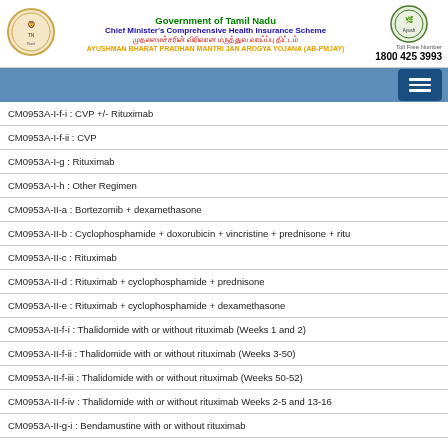Government of Tamil Nadu
Chief Minister's Comprehensive Health Insurance Scheme
AYUSHMAN BHARAT PRADHAN MANTRI JAN AROGYA YOJANA (AB-PMJAY)
Toll Free Number: 1800 425 3993
CM0953A-I-f-i : CVP +/- Rituximab
CM0953A-I-f-ii : CVP
CM0953A-I-g : Rituximab
CM0953A-I-h : Other Regimen
CM0953A-II-a : Bortezomib + dexamethasone
CM0953A-II-b : Cyclophosphamide + doxorubicin + vincristine + prednisone + ritu
CM0953A-II-c : Rituximab
CM0953A-II-d : Rituximab + cyclophosphamide + prednisone
CM0953A-II-e : Rituximab + cyclophosphamide + dexamethasone
CM0953A-II-f-i : Thalidomide with or without rituximab (Weeks 1 and 2)
CM0953A-II-f-ii : Thalidomide with or without rituximab (Weeks 3-50)
CM0953A-II-f-iii : Thalidomide with or without rituximab (Weeks 50-52)
CM0953A-II-f-iv : Thalidomide with or without rituximab Weeks 2-5 and 13-16
CM0953A-II-g-i : Bendamustine with or without rituximab